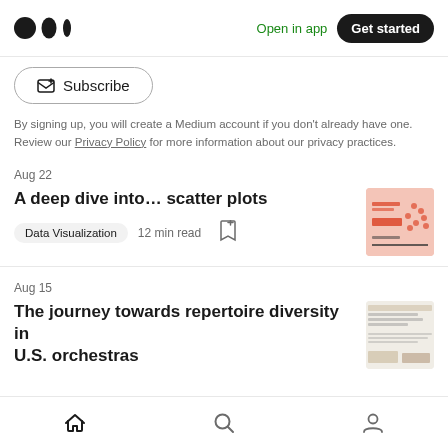Medium logo | Open in app | Get started
Subscribe
By signing up, you will create a Medium account if you don't already have one. Review our Privacy Policy for more information about our privacy practices.
Aug 22
A deep dive into… scatter plots
Data Visualization  12 min read
[Figure (illustration): Thumbnail image for scatter plots article — pink/salmon background with scatter plot dots and text overlay]
Aug 15
The journey towards repertoire diversity in U.S. orchestras
[Figure (screenshot): Thumbnail image for repertoire diversity article — cream/tan background with small text and chart]
Home | Search | Profile navigation icons